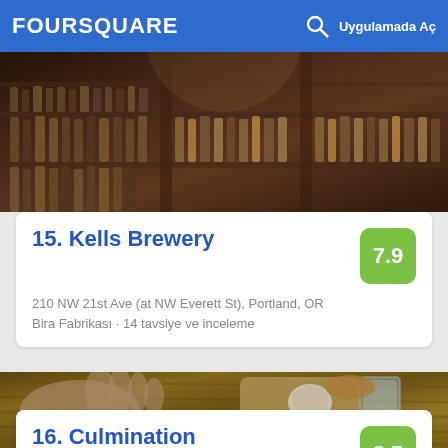FOURSQUARE  Uygulamada Aç
[Figure (photo): Bar shelves with bottles of liquor and spirits in a dimly lit bar interior]
15. Kells Brewery
210 NW 21st Ave (at NW Everett St), Portland, OR
Bira Fabrikası · 14 tavsiye ve inceleme
[Figure (photo): Wooden table with a hand resting on it, a small bowl of sauce, bread, a glass of water, and sunglasses]
16. Culmination